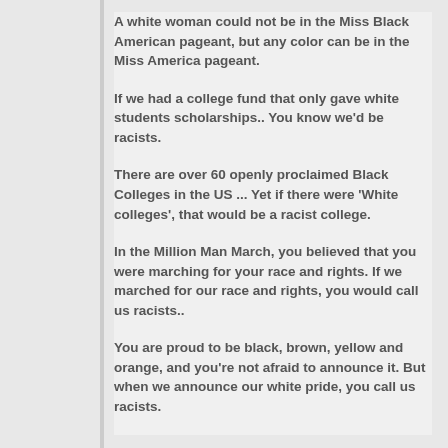A white woman could not be in the Miss Black American pageant, but any color can be in the Miss America pageant.
If we had a college fund that only gave white students scholarships.. You know we'd be racists.
There are over 60 openly proclaimed Black Colleges in the US ... Yet if there were 'White colleges', that would be a racist college.
In the Million Man March, you believed that you were marching for your race and rights. If we marched for our race and rights, you would call us racists..
You are proud to be black, brown, yellow and orange, and you're not afraid to announce it. But when we announce our white pride, you call us racists.